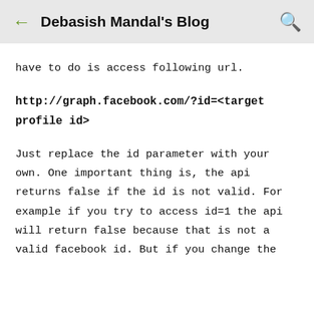← Debasish Mandal's Blog 🔍
have to do is access following url.
http://graph.facebook.com/?id=<target profile id>
Just replace the id parameter with your own. One important thing is, the api returns false if the id is not valid. For example if you try to access id=1 the api will return false because that is not a valid facebook id. But if you change the